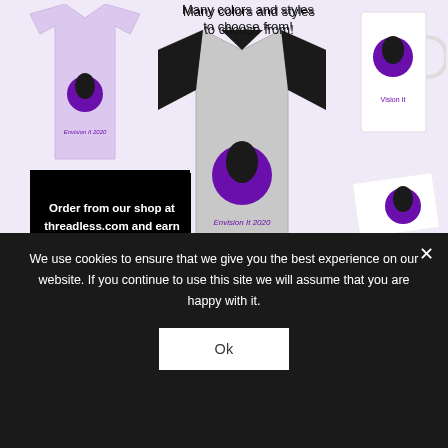[Figure (screenshot): E-commerce product page showing WFS Envision It 2020 branded merchandise on threadless.com including t-shirts, baseball jersey, mug, sticker, tote bag, notebook, and hoodie on a light purple background]
Many colors and styles to choose from!
Order from our shop at threadless.com and earn money for WFS!
WFS benefits from every sale
We use cookies to ensure that we give you the best experience on our website. If you continue to use this site we will assume that you are happy with it.
Ok